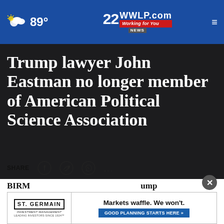89° | 22NEWS WWLP.com Working for You
Trump lawyer John Eastman no longer member of American Political Science Association
(AP Photo/Charles Dharapak)
by: Lee Hedgepeth, Nexstar Media Wire
Posted: Jun 20, 2022 / 03:24 PM EDT
Updated: Jun 20, 2022 / 03:24 PM EDT
SHARE
[Figure (infographic): Advertisement banner: St. Germain Investment Management - Markets waffle. We won't. GOOD PLANNING STARTS HERE »]
BIRM... ump